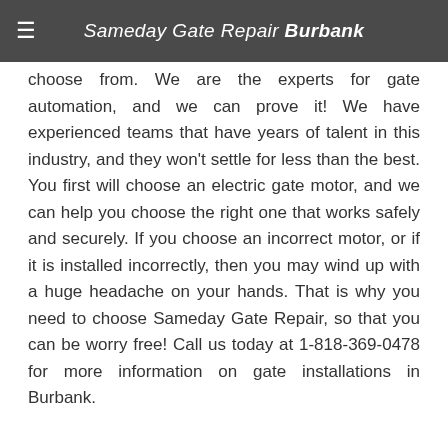Sameday Gate Repair Burbank
choose from. We are the experts for gate automation, and we can prove it! We have experienced teams that have years of talent in this industry, and they won't settle for less than the best. You first will choose an electric gate motor, and we can help you choose the right one that works safely and securely. If you choose an incorrect motor, or if it is installed incorrectly, then you may wind up with a huge headache on your hands. That is why you need to choose Sameday Gate Repair, so that you can be worry free! Call us today at 1-818-369-0478 for more information on gate installations in Burbank.
Preventive Care Maintenance matters to Sameday Gate Repair It is great to have a gate for your home or community, but you need to ensure your gate is properly maintained, or it will just be for decoration. Sameday Gate Repair will maintain your gate for